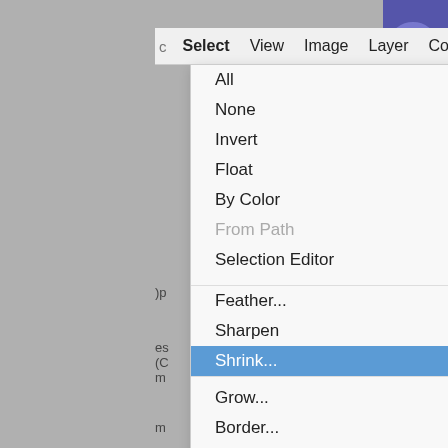[Figure (screenshot): GIMP application screenshot showing the Select menu open with items: All (Ctrl+A), None (Shift+Ctrl+A), Invert (Ctrl+I), Float (Shift+Ctrl+L), By Color (Shift+O), From Path (Shift+V, grayed out), Selection Editor, Feather..., Sharpen, Shrink... (highlighted in blue), Grow..., Border..., Distort..., Rounded Rectangle..., Toggle Quick Mask (Shift+Q). Menu bar shows: Select, View, Image, Layer, Colors, Tools. Background shows a purple fractal image.]